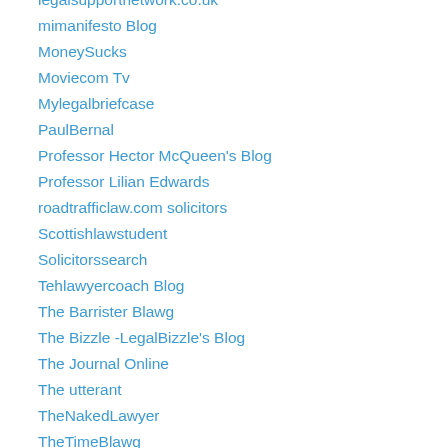legalsupportnetwork.co.uk
mimanifesto Blog
MoneySucks
Moviecom Tv
Mylegalbriefcase
PaulBernal
Professor Hector McQueen's Blog
Professor Lilian Edwards
roadtrafficlaw.com solicitors
Scottishlawstudent
Solicitorssearch
Tehlawyercoach Blog
The Barrister Blawg
The Bizzle -LegalBizzle's Blog
The Journal Online
The utterant
TheNakedLawyer
TheTimeBlawg
Thrilling Detective
TWITTER TOP TEN – No 10